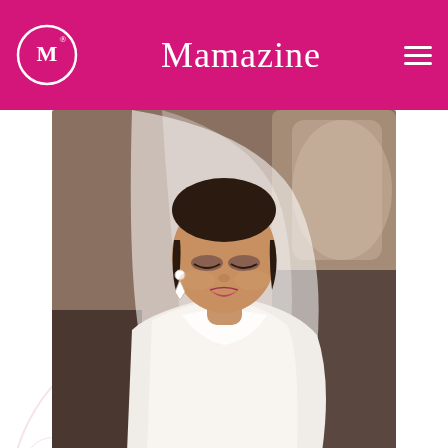Mamazine
[Figure (photo): A bride wearing a white dress and veil, with diamond earrings, looking down and smiling. She appears to be sitting in a car.]
All The Details on JLo's Wedding Jewelry
THE ADVENTURINE
[Figure (photo): A close-up photo showing a hand with a ring, against a blue/grey background.]